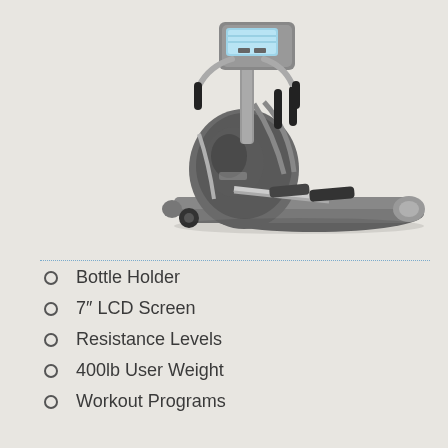[Figure (illustration): A gray elliptical cross-trainer / elliptical machine shown from a front-left angle on a light beige background. The machine has handlebars, a digital LCD console at top, large grey flywheel housing, pedal arms, and an extended rail base.]
Bottle Holder
7″ LCD Screen
Resistance Levels
400lb User Weight
Workout Programs